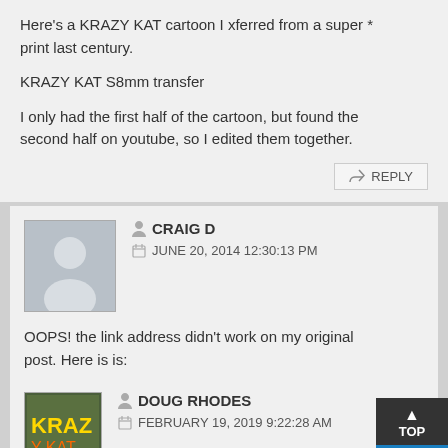Here's a KRAZY KAT cartoon I xferred from a super * print last century.

KRAZY KAT S8mm transfer

I only had the first half of the cartoon, but found the second half on youtube, so I edited them together.
CRAIG D
JUNE 20, 2014 12:30:13 PM

OOPS! the link address didn't work on my original post. Here is is:

http://youtu.be/vrmFM8mQQfs
DOUG RHODES
FEBRUARY 19, 2019 9:22:38 AM